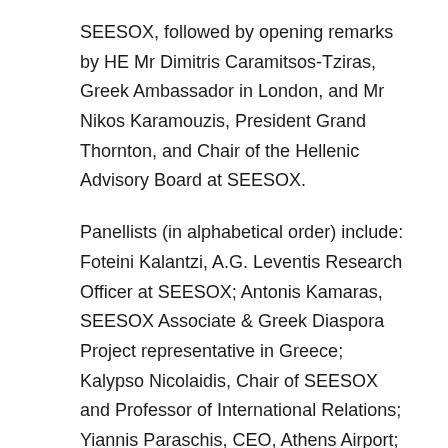SEESOX, followed by opening remarks by HE Mr Dimitris Caramitsos-Tziras, Greek Ambassador in London, and Mr Nikos Karamouzis, President Grand Thornton, and Chair of the Hellenic Advisory Board at SEESOX.
Panellists (in alphabetical order) include: Foteini Kalantzi, A.G. Leventis Research Officer at SEESOX; Antonis Kamaras, SEESOX Associate & Greek Diaspora Project representative in Greece; Kalypso Nicolaidis, Chair of SEESOX and Professor of International Relations; Yiannis Paraschis, CEO, Athens Airport; Manolis Pratsinakis, Onassis fellow at SEESOX; Alexandros Sarrigeorgiou, CEO, Eurolife.
Programme